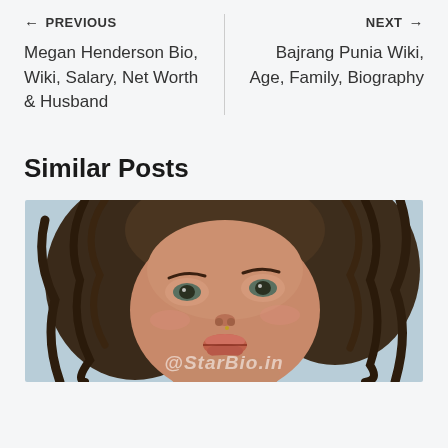← PREVIOUS
Megan Henderson Bio, Wiki, Salary, Net Worth & Husband
NEXT →
Bajrang Punia Wiki, Age, Family, Biography
Similar Posts
[Figure (photo): Close-up portrait photo of a young woman with curly dark hair, looking slightly downward. Watermark '@StarBio.in' visible at the bottom of the image.]